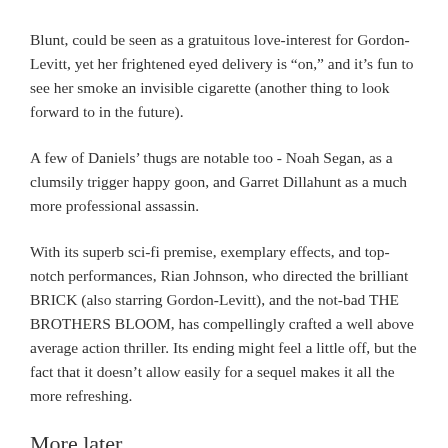Blunt, could be seen as a gratuitous love-interest for Gordon-Levitt, yet her frightened eyed delivery is “on,” and it’s fun to see her smoke an invisible cigarette (another thing to look forward to in the future).
A few of Daniels’ thugs are notable too - Noah Segan, as a clumsily trigger happy goon, and Garret Dillahunt as a much more professional assassin.
With its superb sci-fi premise, exemplary effects, and top-notch performances, Rian Johnson, who directed the brilliant BRICK (also starring Gordon-Levitt), and the not-bad THE BROTHERS BLOOM, has compellingly crafted a well above average action thriller. Its ending might feel a little off, but the fact that it doesn’t allow easily for a sequel makes it all the more refreshing.
More later...